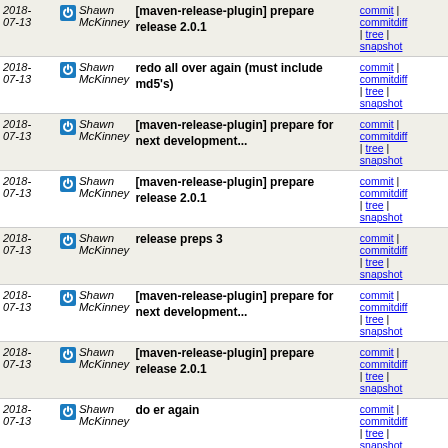| Date | Author | Message | Links |
| --- | --- | --- | --- |
| 2018-07-13 | Shawn McKinney | [maven-release-plugin] prepare release 2.0.1 | commit | commitdiff | tree | snapshot |
| 2018-07-13 | Shawn McKinney | redo all over again (must include md5's) | commit | commitdiff | tree | snapshot |
| 2018-07-13 | Shawn McKinney | [maven-release-plugin] prepare for next development... | commit | commitdiff | tree | snapshot |
| 2018-07-13 | Shawn McKinney | [maven-release-plugin] prepare release 2.0.1 | commit | commitdiff | tree | snapshot |
| 2018-07-13 | Shawn McKinney | release preps 3 | commit | commitdiff | tree | snapshot |
| 2018-07-13 | Shawn McKinney | [maven-release-plugin] prepare for next development... | commit | commitdiff | tree | snapshot |
| 2018-07-13 | Shawn McKinney | [maven-release-plugin] prepare release 2.0.1 | commit | commitdiff | tree | snapshot |
| 2018-07-13 | Shawn McKinney | do er again | commit | commitdiff | tree | snapshot |
| 2018-07-13 | Shawn McKinney | [maven-release-plugin] prepare for next development... | commit | commitdiff | tree | snapshot |
| 2018-07-13 | Shawn McKinney | [maven-release-plugin] prepare release 2.0.1 | commit | commitdiff | tree | snapshot |